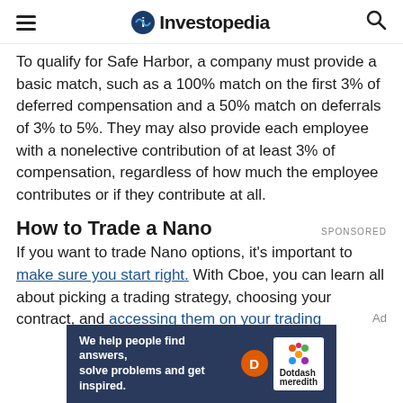Investopedia
To qualify for Safe Harbor, a company must provide a basic match, such as a 100% match on the first 3% of deferred compensation and a 50% match on deferrals of 3% to 5%. They may also provide each employee with a nonelective contribution of at least 3% of compensation, regardless of how much the employee contributes or if they contribute at all.
How to Trade a Nano
If you want to trade Nano options, it's important to make sure you start right. With Cboe, you can learn all about picking a trading strategy, choosing your contract, and accessing them on your trading
[Figure (other): Dotdash Meredith advertisement banner. Text: We help people find answers, solve problems and get inspired. Shows Dotdash Meredith branding with orange D logo and colorful hexagon logo.]